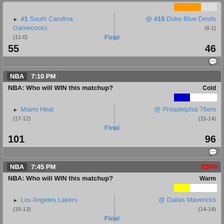#1 South Carolina Gamecocks (11-0) @ #15 Duke Blue Devils (8-1) — Final 55-46
NBA 7:10 PM
NBA: Who will WIN this matchup? Cold
Miami Heat (17-12) @ Philadelphia 76ers (15-14) — Final 101-96
NBA 7:45 PM ESPN
NBA: Who will WIN this matchup? Warm
Los Angeles Lakers (16-13) @ Dallas Mavericks (14-14) — Final 107-104
NBA 7:45 PM ESPN